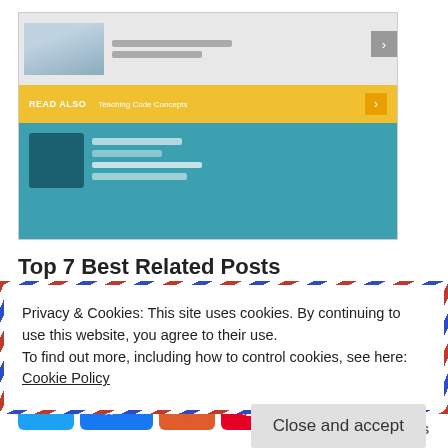[Figure (screenshot): Screenshot of a blog post page showing related posts with a yellow 'READ ALSO' banner and teal background]
Top 7 Best Related Posts Plugins for WordPress 2020
In "WordPress Plugins"
[Figure (infographic): Social share buttons: Twitter, Facebook (3), Reddit, Pinterest, WhatsApp — 3 SHARES total]
Privacy & Cookies: This site uses cookies. By continuing to use this website, you agree to their use.
To find out more, including how to control cookies, see here: Cookie Policy
Close and accept